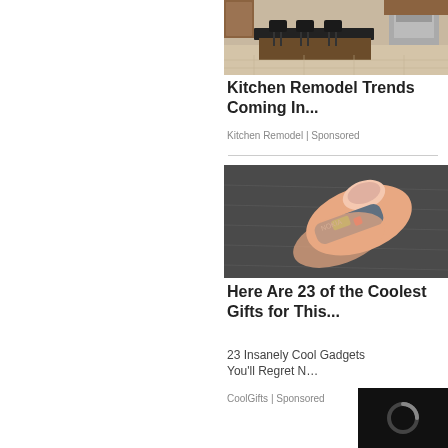[Figure (photo): Kitchen with dark granite island countertop, bar stools, wood cabinetry, and stainless appliances]
Kitchen Remodel Trends Coming In...
Kitchen Remodel | Sponsored
[Figure (photo): Close-up of a finger holding a small electronic device (nail-clip shaped gadget) on a dark surface]
Here Are 23 of the Coolest Gifts for This...
23 Insanely Cool Gadgets You'll Regret N…
CoolGifts | Sponsored